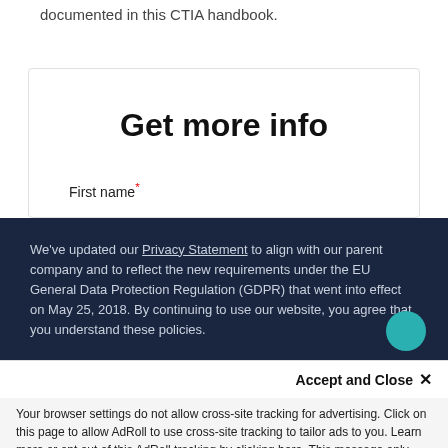documented in this CTIA handbook.
Get more info
First name*
We've updated our Privacy Statement to align with our parent company and to reflect the new requirements under the EU General Data Protection Regulation (GDPR) that went into effect on May 25, 2018. By continuing to use our website, you agree that you understand these policies.
Accept and Close ✕
Your browser settings do not allow cross-site tracking for advertising. Click on this page to allow AdRoll to use cross-site tracking to tailor ads to you. Learn more or opt out of this AdRoll tracking by clicking here. This message only appears once.